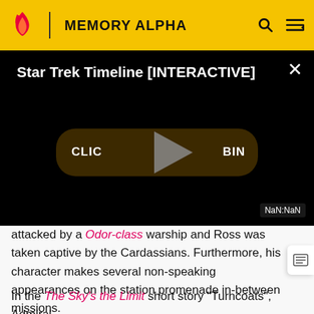MEMORY ALPHA
[Figure (screenshot): Video player with title 'Star Trek Timeline [INTERACTIVE]', a dark background, a play button overlaid on a 'CLICK TO BEGIN' button, and a NaN:NaN timestamp label in the bottom right corner.]
attacked by a Odor-class warship and Ross was taken captive by the Cardassians. Furthermore, his character makes several non-speaking appearances on the station promenade in-between missions.
In the The Sky's the Limit short story "Turncoats", Admiral